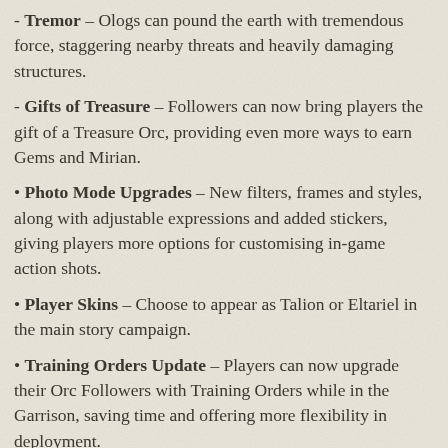- Tremor – Ologs can pound the earth with tremendous force, staggering nearby threats and heavily damaging structures.
- Gifts of Treasure – Followers can now bring players the gift of a Treasure Orc, providing even more ways to earn Gems and Mirian.
• Photo Mode Upgrades – New filters, frames and styles, along with adjustable expressions and added stickers, giving players more options for customising in-game action shots.
• Player Skins – Choose to appear as Talion or Eltariel in the main story campaign.
• Training Orders Update – Players can now upgrade their Orc Followers with Training Orders while in the Garrison, saving time and offering more flexibility in deployment.
• Player Stats Page – New menu for players to track a variety of in-game statistics, including the number and type of enemy kills, dominations and betrayals; fortresses